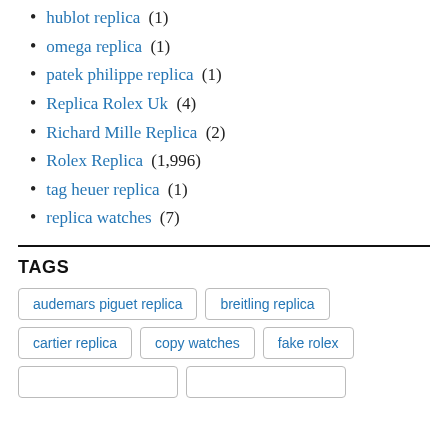hublot replica (1)
omega replica (1)
patek philippe replica (1)
Replica Rolex Uk (4)
Richard Mille Replica (2)
Rolex Replica (1,996)
tag heuer replica (1)
replica watches (7)
TAGS
audemars piguet replica, breitling replica, cartier replica, copy watches, fake rolex